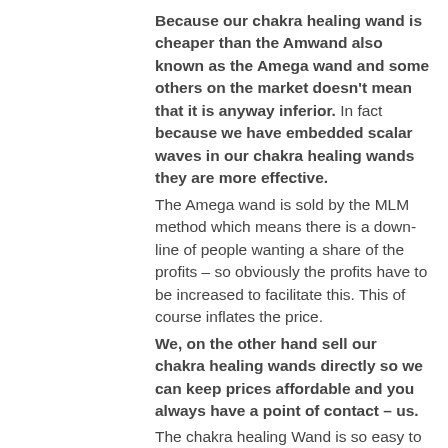Because our chakra healing wand is cheaper than the Amwand also known as the Amega wand and some others on the market doesn't mean that it is anyway inferior. In fact because we have embedded scalar waves in our chakra healing wands they are more effective. The Amega wand is sold by the MLM method which means there is a down-line of people wanting a share of the profits – so obviously the profits have to be increased to facilitate this. This of course inflates the price. We, on the other hand sell our chakra healing wands directly so we can keep prices affordable and you always have a point of contact – us. The chakra healing Wand is so easy to use with instructions included. Easy to carry in its purpose made stylish brown